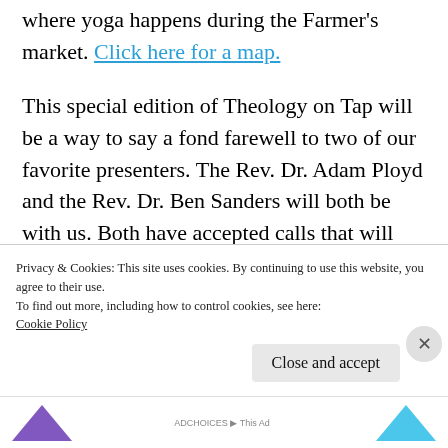where yoga happens during the Farmer's market. Click here for a map.
This special edition of Theology on Tap will be a way to say a fond farewell to two of our favorite presenters. The Rev. Dr. Adam Ployd and the Rev. Dr. Ben Sanders will both be with us. Both have accepted calls that will take them from St. Louis this summer.
T...
Privacy & Cookies: This site uses cookies. By continuing to use this website, you agree to their use.
To find out more, including how to control cookies, see here:
Cookie Policy